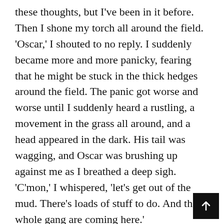these thoughts, but I've been in it before. Then I shone my torch all around the field. 'Oscar,' I shouted to no reply. I suddenly became more and more panicky, fearing that he might be stuck in the thick hedges around the field. The panic got worse and worse until I suddenly heard a rustling, a movement in the grass all around, and a head appeared in the dark. His tail was wagging, and Oscar was brushing up against me as I breathed a deep sigh. 'C'mon,' I whispered, 'let's get out of the mud. There's loads of stuff to do. And the whole gang are coming here.'